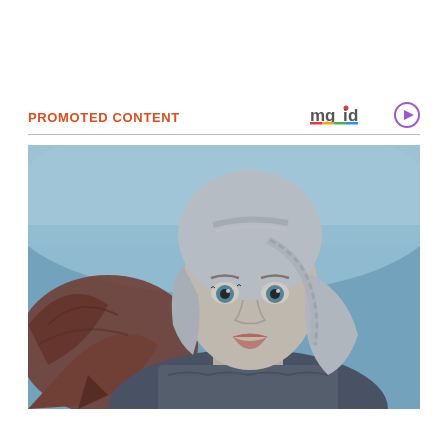PROMOTED CONTENT
[Figure (logo): mgid logo with play button icon]
[Figure (photo): A woman with silver/white braided hair wearing a fur-decorated outfit, with a dragon visible in the background. Blue-toned cinematic scene resembling Game of Thrones.]